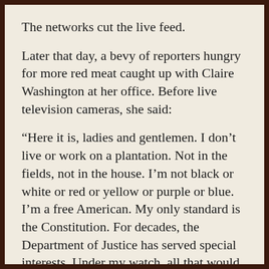The networks cut the live feed.
Later that day, a bevy of reporters hungry for more red meat caught up with Claire Washington at her office. Before live television cameras, she said:
“Here it is, ladies and gentlemen. I don’t live or work on a plantation. Not in the fields, not in the house. I’m not black or white or red or yellow or purple or blue. I’m a free American. My only standard is the Constitution. For decades, the Department of Justice has served special interests. Under my watch, all that would end. I don’t fear the biggest corporate CEOs in the country, or the lowest gang killers in Chicago, or US Senators. If you